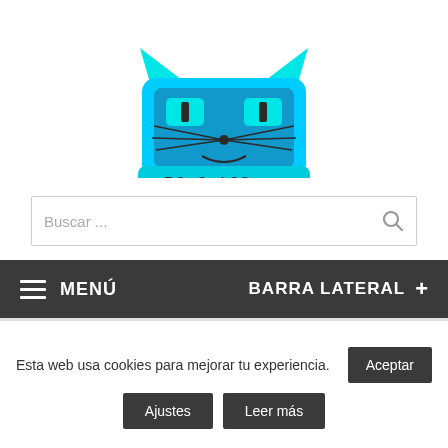[Figure (logo): PC Gatos logo: cyan cat face with ears above a rounded blue rectangle, whiskers, eyes, nose, and text 'PC GatOS' with two horizontal lines resembling sunglasses]
Buscar ...
MENÚ
BARRA LATERAL +
Esta web usa cookies para mejorar tu experiencia.
Aceptar
Ajustes
Leer más